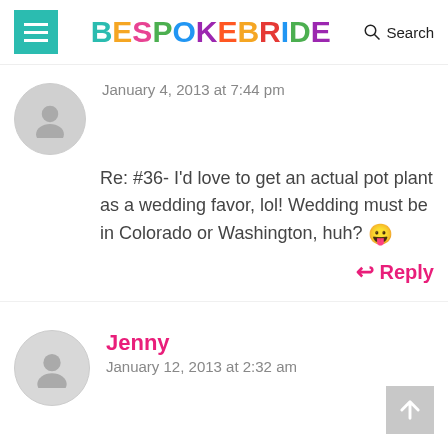BESPOKE BRIDE — Search
January 4, 2013 at 7:44 pm
Re: #36- I'd love to get an actual pot plant as a wedding favor, lol! Wedding must be in Colorado or Washington, huh? 😛
↩ Reply
Jenny
January 12, 2013 at 2:32 am